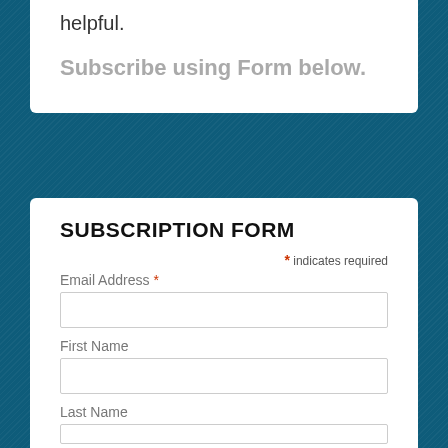helpful.
Subscribe using Form below.
SUBSCRIPTION FORM
* indicates required
Email Address *
First Name
Last Name